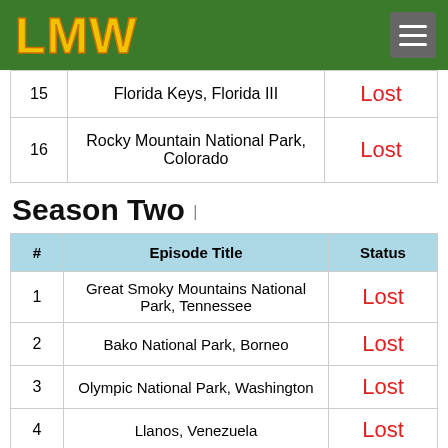LMW logo with hamburger menu
| # | Episode Title | Status |
| --- | --- | --- |
| 15 | Florida Keys, Florida III | Lost |
| 16 | Rocky Mountain National Park, Colorado | Lost |
Season Two
| # | Episode Title | Status |
| --- | --- | --- |
| 1 | Great Smoky Mountains National Park, Tennessee | Lost |
| 2 | Bako National Park, Borneo | Lost |
| 3 | Olympic National Park, Washington | Lost |
| 4 | Llanos, Venezuela | Lost |
| 5 | Khao Sok National Park, Thailand | Lost |